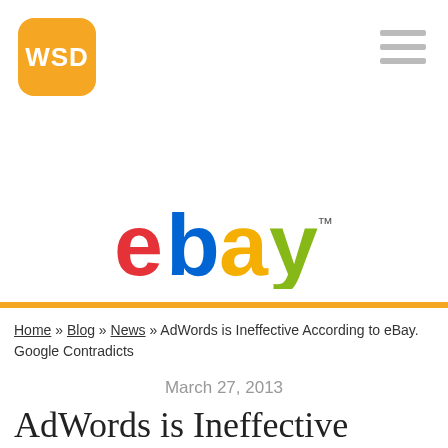[Figure (logo): WSD logo — orange rounded square with white bold text 'WSD']
[Figure (logo): eBay logo in classic multicolor style — red 'e', blue 'b', yellow 'a', green 'y' with trademark symbol]
Home » Blog » News » AdWords is Ineffective According to eBay. Google Contradicts
March 27, 2013
AdWords is Ineffective According to eBay. Google